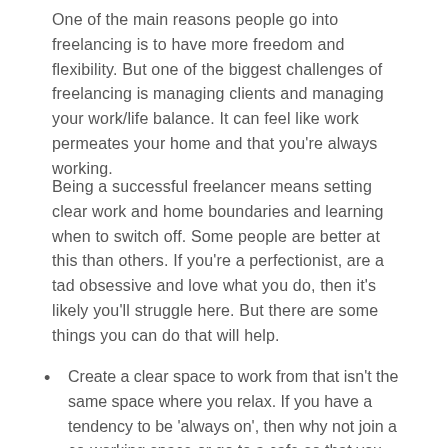One of the main reasons people go into freelancing is to have more freedom and flexibility. But one of the biggest challenges of freelancing is managing clients and managing your work/life balance. It can feel like work permeates your home and that you're always working.
Being a successful freelancer means setting clear work and home boundaries and learning when to switch off. Some people are better at this than others. If you're a perfectionist, are a tad obsessive and love what you do, then it's likely you'll struggle here. But there are some things you can do that will help.
Create a clear space to work from that isn't the same space where you relax. If you have a tendency to be 'always on', then why not join a co-working space or go to a cafe so that you can 'go to work' and when you